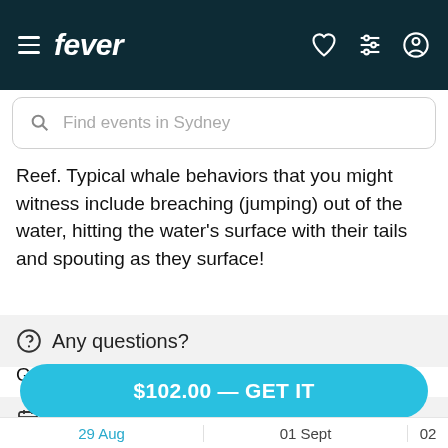fever — Find events in Sydney
Reef. Typical whale behaviors that you might witness include breaching (jumping) out of the water, hitting the water's surface with their tails and spouting as they surface!
Any questions?
Get in touch here
Select date and session
$102.00 — GET IT
29 Aug   01 Sept   02